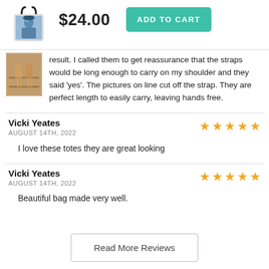[Figure (illustration): Tote bag product thumbnail image with painted portrait artwork]
$24.00
ADD TO CART
result. I called them to get reassurance that the straps would be long enough to carry on my shoulder and they said 'yes'. The pictures on line cut off the strap. They are perfect length to easily carry, leaving hands free.
Vicki Yeates
AUGUST 14TH, 2022
I love these totes they are great looking
Vicki Yeates
AUGUST 14TH, 2022
Beautiful bag made very well.
Read More Reviews